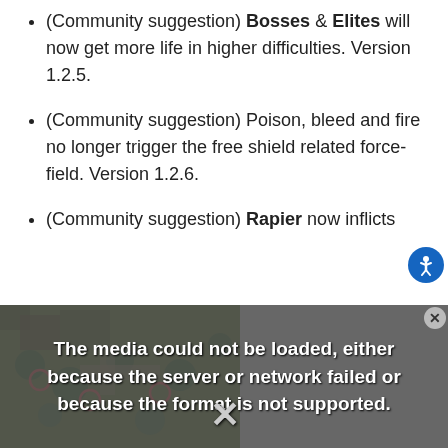(Community suggestion) Bosses & Elites will now get more life in higher difficulties. Version 1.2.5.
(Community suggestion) Poison, bleed and fire no longer trigger the free shield related force-field. Version 1.2.6.
(Community suggestion) Rapier now inflicts
[Figure (screenshot): Media error overlay showing 'The media could not be loaded, either because the server or network failed or because the format is not supported.' with a game screenshot partially visible in the background and an X dismiss button.]
blueprints you already have. Version 1.2.6.
(Community suggestion) Enemies protected by